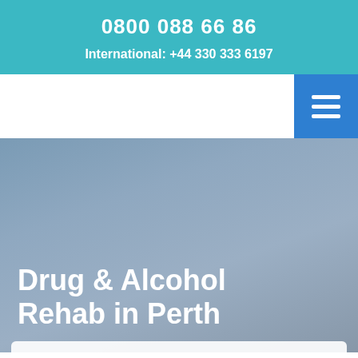0800 088 66 86
International: +44 330 333 6197
[Figure (screenshot): White navigation bar with a blue hamburger menu button on the right]
Drug & Alcohol Rehab in Perth